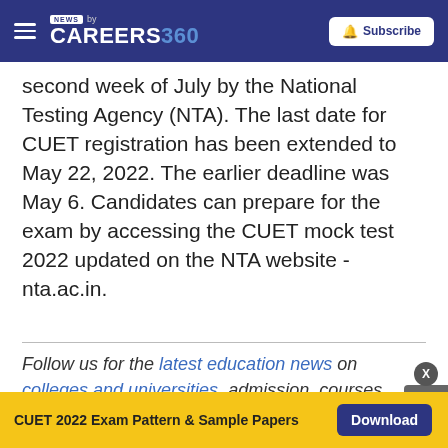NEWS by CAREERS360 | Subscribe
second week of July by the National Testing Agency (NTA). The last date for CUET registration has been extended to May 22, 2022. The earlier deadline was May 6. Candidates can prepare for the exam by accessing the CUET mock test 2022 updated on the NTA website - nta.ac.in.
Follow us for the latest education news on colleges and universities, admission, courses, exams, schools, research, NEP and education policies and more..
CUET 2022 Exam Pattern & Sample Papers  Download